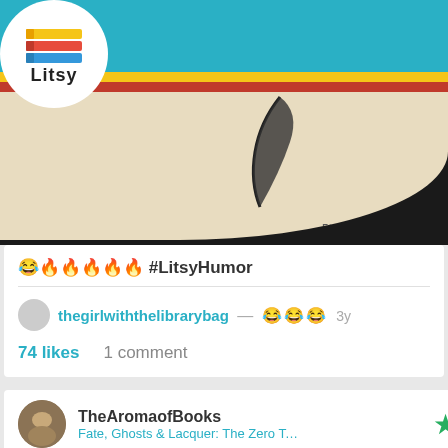[Figure (screenshot): Litsy app navigation bar with logo, home, search, plus, lightning, and profile icons on teal background with yellow and red stripes below]
[Figure (photo): Book cover or meme image showing parchment-colored background with a black swoosh/feather design and 'BRAINLESS TALES.com' watermark, on black background]
😂🔥🔥🔥🔥🔥 #LitsyHumor
thegirlwiththelibrarybag — 😂😂😂 3y
74 likes   1 comment
TheAromaofBooks
Fate, Ghosts & Lacquer: The Zero Tolerance...